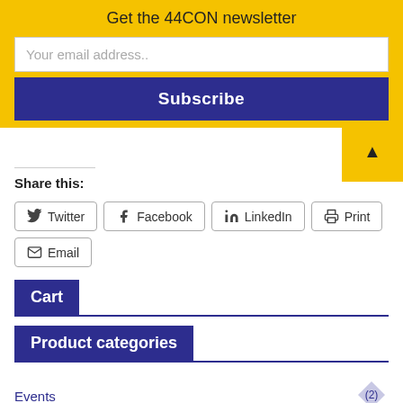Get the 44CON newsletter
Your email address..
Subscribe
Share this:
Twitter
Facebook
LinkedIn
Print
Email
Cart
Product categories
Events (2)
Training (3)